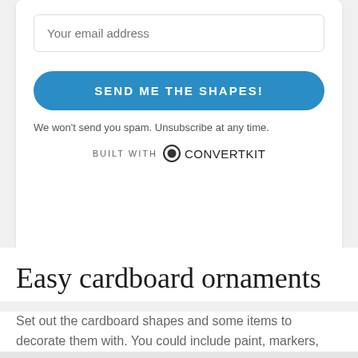Your email address
SEND ME THE SHAPES!
We won't send you spam. Unsubscribe at any time.
BUILT WITH ConvertKit
Easy cardboard ornaments
Set out the cardboard shapes and some items to decorate them with. You could include paint, markers, glue, plastic rhinestones, sequins etc.